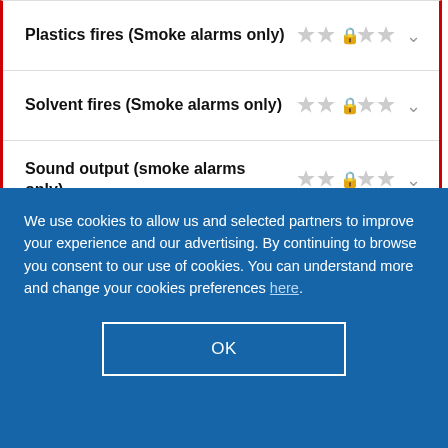Plastics fires (Smoke alarms only) — 3/5 stars (locked at 3)
Solvent fires (Smoke alarms only) — 3/5 stars (locked at 3)
Sound output (smoke alarms only) — 3/5 stars (locked at 3)
Sensitivity (Smoke alarms — partially visible)
We use cookies to allow us and selected partners to improve your experience and our advertising. By continuing to browse you consent to our use of cookies. You can understand more and change your cookies preferences here.